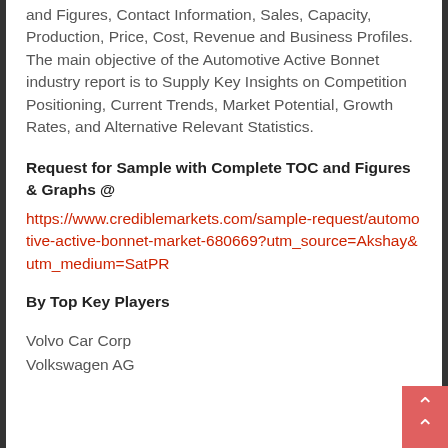and Figures, Contact Information, Sales, Capacity, Production, Price, Cost, Revenue and Business Profiles. The main objective of the Automotive Active Bonnet industry report is to Supply Key Insights on Competition Positioning, Current Trends, Market Potential, Growth Rates, and Alternative Relevant Statistics.
Request for Sample with Complete TOC and Figures & Graphs @
https://www.crediblemarkets.com/sample-request/automotive-active-bonnet-market-680669?utm_source=Akshay&utm_medium=SatPR
By Top Key Players
Volvo Car Corp
Volkswagen AG